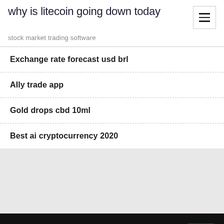why is litecoin going down today
stock market trading software
Exchange rate forecast usd brl
Ally trade app
Gold drops cbd 10ml
Best ai cryptocurrency 2020
Top Stories